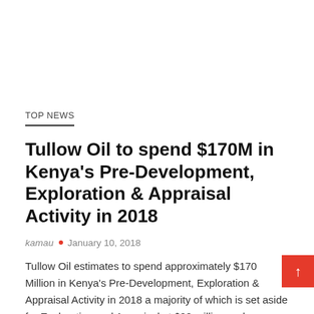TOP NEWS
Tullow Oil to spend $170M in Kenya's Pre-Development, Exploration & Appraisal Activity in 2018
kamau • January 10, 2018
Tullow Oil estimates to spend approximately $170 Million in Kenya's Pre-Development, Exploration & Appraisal Activity in 2018 a majority of which is set aside for Exploration and Appraisal at $90 million and pre-development expenditure of $80 million.